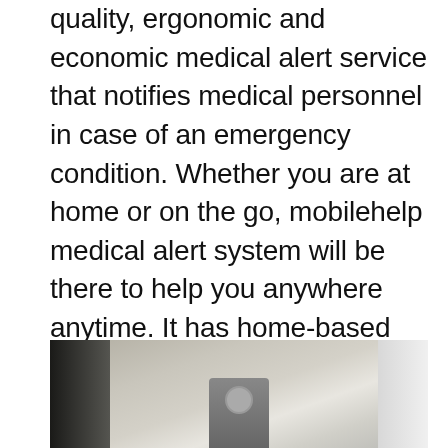mobilehelp provides its users with high quality, ergonomic and economic medical alert service that notifies medical personnel in case of an emergency condition. Whether you are at home or on the go, mobilehelp medical alert system will be there to help you anywhere anytime. It has home-based systems as well as mobile systems for any kind of medical emergency for 24/7 care and monitoring.
[Figure (photo): Photograph showing a room interior with a dark object/device on the left side and a light curtain on the right side, partially cut off at the bottom of the page.]